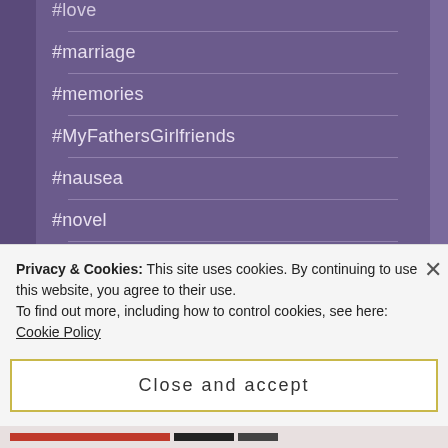#love
#marriage
#memories
#MyFathersGirlfriends
#nausea
#novel
#parent
Privacy & Cookies: This site uses cookies. By continuing to use this website, you agree to their use.
To find out more, including how to control cookies, see here: Cookie Policy
Close and accept